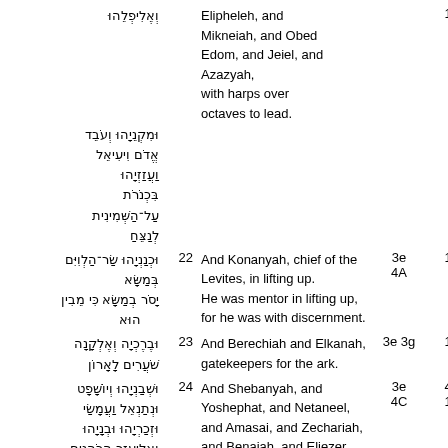| Hebrew | Verse | English | Codes | Num |
| --- | --- | --- | --- | --- |
| וְאֶלִיפְלֵהוּ |  | Elipheleh, and |  | 12 |
| וּמִקְנֵיָהוּ וְעֹבֵד |  | Mikneiah, and Obed |  |  |
| אֱדֹם וִיעִיאֵל |  | Edom, and Jeiel, and |  |  |
| וַעֲזַזְיָהוּ |  | Azazyah, |  |  |
| בִּכְנֹרֹת |  | with harps over |  |  |
| עַל־הַשְּׁמִינִית |  | octaves to lead. |  |  |
| לְנַצֵּחַ |  |  |  |  |
| וּכְנַנְיָהוּ שַׂר־הַלְוִיִּם | 22 | And Konanyah, chief of the Levites, in lifting up. | 3e 4A | 11 9 |
| בְּמַשָּׂא |  |  |  |  |
| יָסֹר בְמַשָּׂא כִּי מֵבִין |  | He was mentor in lifting up, for he was with discernment. |  |  |
| הוּא |  |  |  |  |
| וּבֶרֶכְיָה וְאֶלְקָנָה | 23 | And Berechiah and Elkanah, gatekeepers for the ark. | 3e 3g | 14 |
| שֹׁעֲרִים לָאָרוֹן |  |  |  |  |
| וּשְׁבַנְיָהוּ וְיוֹשָׁפָט | 24 | And Shebanyah, and Yoshephat, and Netaneel, and Amasai, and Zechariah, and Benaiah, and Eliezer, | 3e 4C | 47 14 |
| וּנְתַנְאֵל וַעֲמָשַׂי |  |  |  |  |
| וּזְכַרְיָהוּ וּבְנָיָהוּ |  |  |  |  |
| וְאֶלְיָעֵזֶר הַכֹּהֲנִים |  |  |  |  |
| מַחְצְרִים בַּחֲצֹצְרוֹת |  |  |  |  |